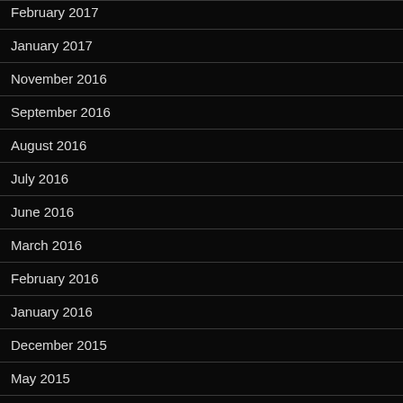February 2017
January 2017
November 2016
September 2016
August 2016
July 2016
June 2016
March 2016
February 2016
January 2016
December 2015
May 2015
December 2014